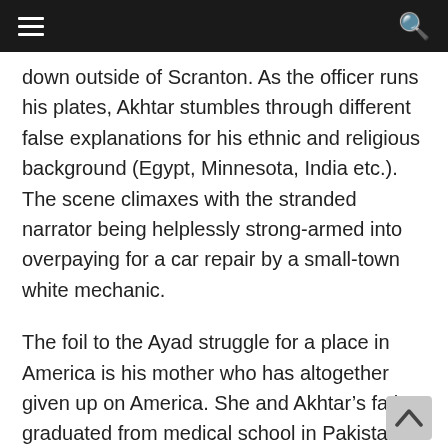☰  [navigation bar]  🔍
down outside of Scranton. As the officer runs his plates, Akhtar stumbles through different false explanations for his ethnic and religious background (Egypt, Minnesota, India etc.).  The scene climaxes with the stranded narrator being helplessly strong-armed into overpaying for a car repair by a small-town white mechanic.
The foil to the Ayad struggle for a place in America is his mother who has altogether given up on America. She and Akhtar's father graduated from medical school in Pakistan in the late 60s and were part of the highly educated immigrant wave that populated practices, hospitals, and labs across the United States during that era. While Akhtar's father maintained a more upbeat view of the United States, his mother quickly became